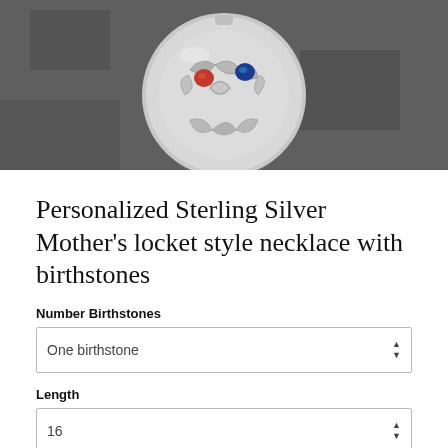[Figure (photo): Close-up photo of a sterling silver locket pendant with scrollwork filigree design and colored birthstones (red and blue) visible, photographed on a dark slate background.]
Personalized Sterling Silver Mother's locket style necklace with birthstones
Number Birthstones
One birthstone
Length
16
List birthstone month here: